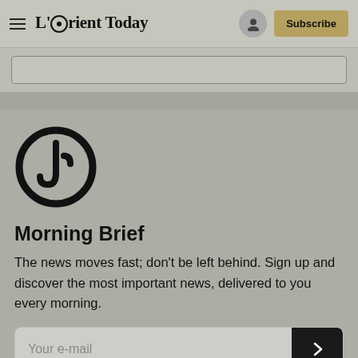L'Orient Today — Subscribe
[Figure (logo): Morning Brief circular clock/power logo icon, black on gray background]
Morning Brief
The news moves fast; don't be left behind. Sign up and discover the most important news, delivered to you every morning.
Your e-mail